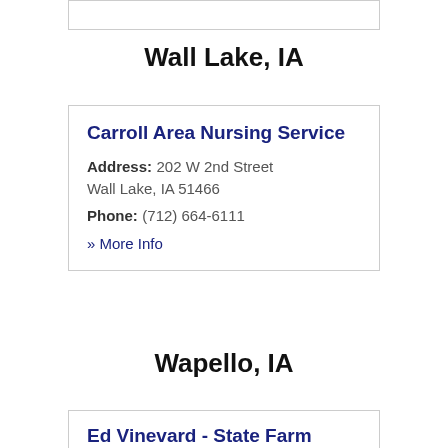Wall Lake, IA
Carroll Area Nursing Service
Address: 202 W 2nd Street
Wall Lake, IA 51466
Phone: (712) 664-6111
» More Info
Wapello, IA
Ed Vinevard - State Farm Insurance